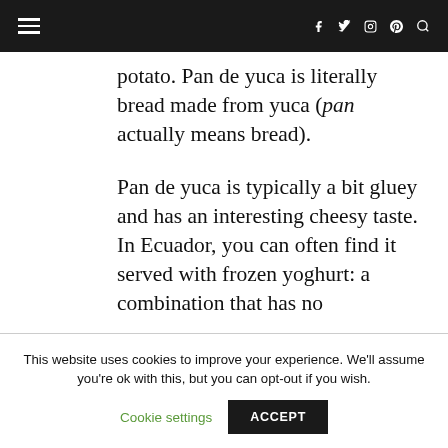≡ f 𝕏 Instagram Pinterest 🔍
potato. Pan de yuca is literally bread made from yuca (pan actually means bread).
Pan de yuca is typically a bit gluey and has an interesting cheesy taste. In Ecuador, you can often find it served with frozen yoghurt: a combination that has no
This website uses cookies to improve your experience. We'll assume you're ok with this, but you can opt-out if you wish. Cookie settings ACCEPT